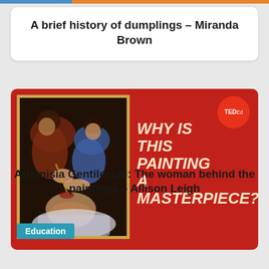A brief history of dumplings – Miranda Brown
[Figure (illustration): TED-Ed video thumbnail with red background showing a classical painting of Artemisia Gentileschi's Judith Slaying Holofernes on the left, and bold italic text 'WHY IS THIS PAINTING A MASTERPIECE?' on the right, with TED-Ed logo badge in top-right corner, and 'Education' tag in bottom-left]
Artemisia Gentileschi: The woman behind the paintings – Allison Leigh